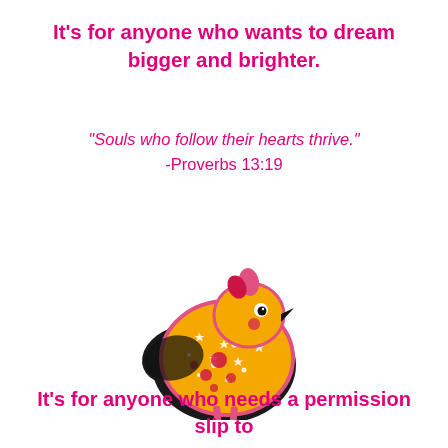It's for anyone who wants to dream bigger and brighter.
"Souls who follow their hearts thrive."
-Proverbs 13:19
[Figure (illustration): A colorful illustrated chick/bird with yellow body decorated with white star/flower patterns and pink/red accents, black outline, pink legs and feet, black beak, and a pink crest on its head.]
It's for anyone who needs a permission slip to